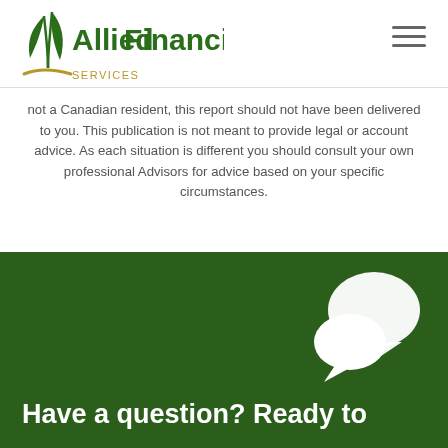Allied Financial Services
not a Canadian resident, this report should not have been delivered to you. This publication is not meant to provide legal or account advice. As each situation is different you should consult your own professional Advisors for advice based on your specific circumstances.
[Figure (illustration): White chat bubble / speech bubble icon on dark green background]
Have a question?  Ready to